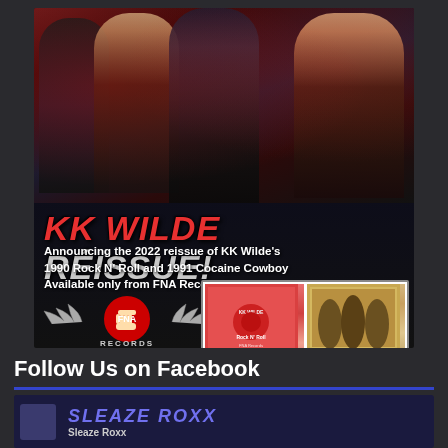[Figure (photo): Advertisement for KK Wilde 2022 Reissue on FNA Records. Shows a band photo of four members with long hair against a dark red background. Large text reads 'KK WILDE REISSUE!' followed by announcement text: 'Announcing the 2022 reissue of KK Wilde's 1990 Rock N' Roll and 1991 Cocaine Cowboy Available only from FNA Records!' FNA Records logo with fist and wings graphic on the left, www.FnARecords.com URL below it. Two album cover thumbnails on the right showing the reissues.]
Follow Us on Facebook
[Figure (screenshot): Partial Facebook page preview showing banner text and 'Sleaze Roxx' name]